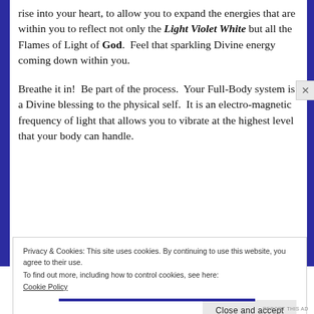rise into your heart, to allow you to expand the energies that are within you to reflect not only the Light Violet White but all the Flames of Light of God.  Feel that sparkling Divine energy coming down within you.
Breathe it in!  Be part of the process.  Your Full-Body system is a Divine blessing to the physical self.  It is an electro-magnetic frequency of light that allows you to vibrate at the highest level that your body can handle.
Privacy & Cookies: This site uses cookies. By continuing to use this website, you agree to their use.
To find out more, including how to control cookies, see here:
Cookie Policy
Close and accept